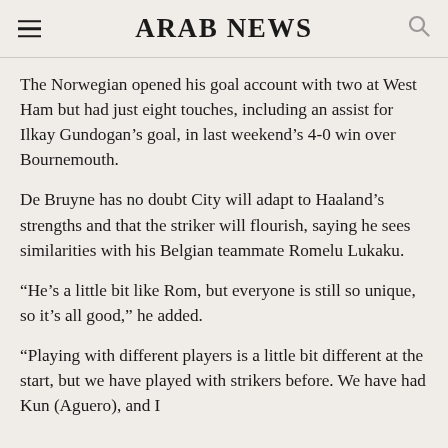ARAB NEWS
The Norwegian opened his goal account with two at West Ham but had just eight touches, including an assist for Ilkay Gundogan’s goal, in last weekend’s 4-0 win over Bournemouth.
De Bruyne has no doubt City will adapt to Haaland’s strengths and that the striker will flourish, saying he sees similarities with his Belgian teammate Romelu Lukaku.
“He’s a little bit like Rom, but everyone is still so unique, so it’s all good,” he added.
“Playing with different players is a little bit different at the start, but we have played with strikers before. We have had Kun (Aguero), and I